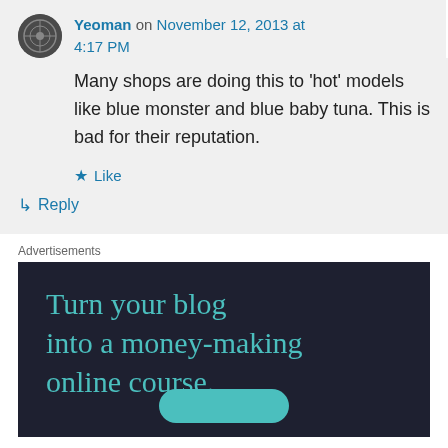Yeoman on November 12, 2013 at 4:17 PM
Many shops are doing this to 'hot' models like blue monster and blue baby tuna. This is bad for their reputation.
★ Like
↳ Reply
Advertisements
[Figure (illustration): Dark navy advertisement banner with teal text reading 'Turn your blog into a money-making online course.' with a teal button at the bottom.]